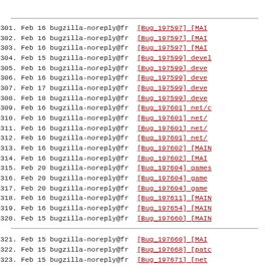301. Feb 16 bugzilla-noreply@fr   [Bug 197597] [MAI
302. Feb 16 bugzilla-noreply@fr   [Bug 197597] [MAI
303. Feb 16 bugzilla-noreply@fr   [Bug 197597] [MAI
304. Feb 15 bugzilla-noreply@fr   [Bug 197599] devel
305. Feb 16 bugzilla-noreply@fr   [Bug 197599] deve
306. Feb 16 bugzilla-noreply@fr   [Bug 197599] deve
307. Feb 17 bugzilla-noreply@fr   [Bug 197599] deve
308. Feb 18 bugzilla-noreply@fr   [Bug 197599] deve
309. Feb 16 bugzilla-noreply@fr   [Bug 197601] net/c
310. Feb 16 bugzilla-noreply@fr   [Bug 197601] net/
311. Feb 16 bugzilla-noreply@fr   [Bug 197601] net/
312. Feb 16 bugzilla-noreply@fr   [Bug 197601] net/
313. Feb 16 bugzilla-noreply@fr   [Bug 197602] [MAIN
314. Feb 16 bugzilla-noreply@fr   [Bug 197602] [MAI
315. Feb 20 bugzilla-noreply@fr   [Bug 197604] games
316. Feb 20 bugzilla-noreply@fr   [Bug 197604] game
317. Feb 20 bugzilla-noreply@fr   [Bug 197604] game
318. Feb 16 bugzilla-noreply@fr   [Bug 197611] [MAIN
319. Feb 16 bugzilla-noreply@fr   [Bug 197654] [MAIN
320. Feb 15 bugzilla-noreply@fr   [Bug 197660] [MAIN
321. Feb 15 bugzilla-noreply@fr   [Bug 197660] [MAI
322. Feb 15 bugzilla-noreply@fr   [Bug 197668] [patc
323. Feb 15 bugzilla-noreply@fr   [Bug 197671] [net